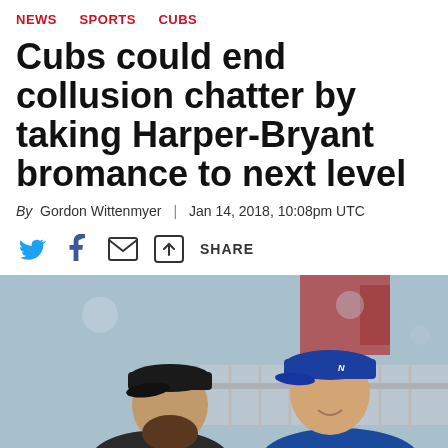NEWS   SPORTS   CUBS
Cubs could end collusion chatter by taking Harper-Bryant bromance to next level
By Gordon Wittenmyer | Jan 14, 2018, 10:08pm UTC
[Figure (infographic): Social sharing icons: Twitter bird (blue), Facebook f (blue), envelope/email icon, share/export icon followed by SHARE label]
[Figure (photo): Two baseball players facing each other outdoors at a stadium. Left player wears a dark cap and has a beard. Right player wears a blue Cubs cap and blue hoodie. Blurred stadium background with red and grey elements.]